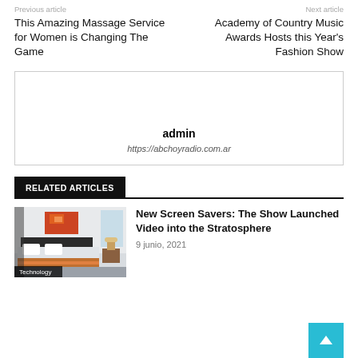Previous article
This Amazing Massage Service for Women is Changing The Game
Next article
Academy of Country Music Awards Hosts this Year's Fashion Show
admin
https://abchoyradio.com.ar
RELATED ARTICLES
[Figure (photo): Bedroom interior with colorful painting above bed, labeled Technology]
New Screen Savers: The Show Launched Video into the Stratosphere
9 junio, 2021